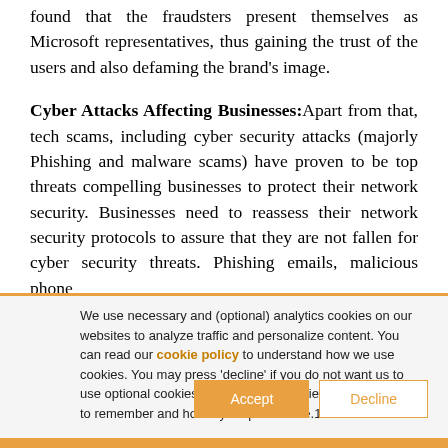found that the fraudsters present themselves as Microsoft representatives, thus gaining the trust of the users and also defaming the brand's image.
Cyber Attacks Affecting Businesses: Apart from that, tech scams, including cyber security attacks (majorly Phishing and malware scams) have proven to be top threats compelling businesses to protect their network security. Businesses need to reassess their network security protocols to assure that they are not fallen for cyber security threats. Phishing emails, malicious phone
We use necessary and (optional) analytics cookies on our websites to analyze traffic and personalize content. You can read our cookie policy to understand how we use cookies. You may press 'decline' if you do not want us to use optional cookies. We will set a cookie on your device to remember and honor your preference.1